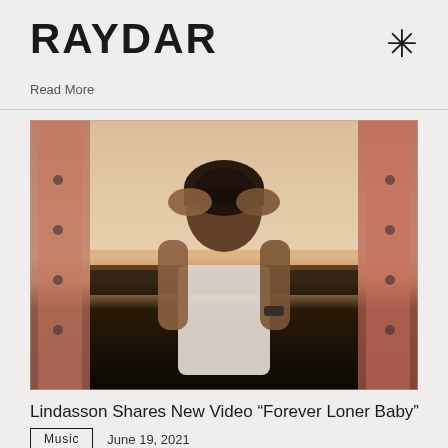RAYDAR
Read More
[Figure (photo): Person with dark cap/beanie holding their head in both hands, wearing a white tank top and watch, with tattoos visible, standing in front of a warm-toned background with dark landscape]
Lindasson Shares New Video “Forever Loner Baby”
Music  June 19, 2021